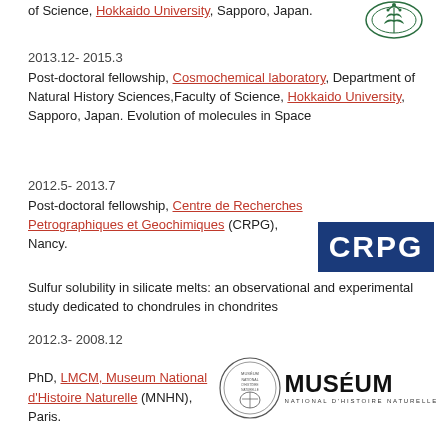of Science, Hokkaido University, Sapporo, Japan.
[Figure (logo): Hokkaido University logo/seal in green]
2013.12- 2015.3
Post-doctoral fellowship, Cosmochemical laboratory, Department of Natural History Sciences,Faculty of Science, Hokkaido University, Sapporo, Japan. Evolution of molecules in Space
2012.5- 2013.7
Post-doctoral fellowship, Centre de Recherches Petrographiques et Geochimiques (CRPG), Nancy.
Sulfur solubility in silicate melts: an observational and experimental study dedicated to chondrules in chondrites
[Figure (logo): CRPG logo - white text on dark blue background]
2012.3- 2008.12
PhD, LMCM, Museum National d'Histoire Naturelle (MNHN), Paris.
[Figure (logo): Museum National d'Histoire Naturelle circular seal and text logo]